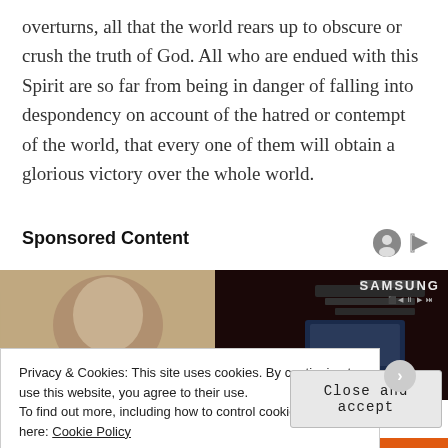overturns, all that the world rears up to obscure or crush the truth of God. All who are endued with this Spirit are so far from being in danger of falling into despondency on account of the hatred or contempt of the world, that every one of them will obtain a glorious victory over the whole world.
Sponsored Content
[Figure (photo): Sponsored content image showing a child on the left side and a Samsung phone/device on the right side]
Privacy & Cookies: This site uses cookies. By continuing to use this website, you agree to their use.
To find out more, including how to control cookies, see here: Cookie Policy
Close and accept